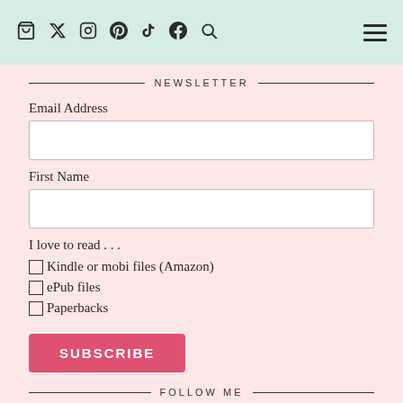🛍 🐦 📷 📌 ♪ 📘 🔍  ☰
NEWSLETTER
Email Address
First Name
I love to read . . .
Kindle or mobi files (Amazon)
ePub files
Paperbacks
SUBSCRIBE
FOLLOW ME